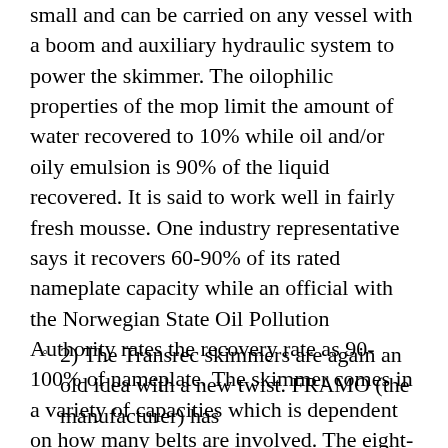small and can be carried on any vessel with a boom and auxiliary hydraulic system to power the skimmer. The oilophilic properties of the mop limit the amount of water recovered to 10% while oil and/or oily emulsion is 90% of the liquid recovered. It is said to work well in fairly fresh mousse. One industry representative says it recovers 60-90% of its rated nameplate capacity while an official with the Norwegian State Oil Pollution Authority rates the recovery rate as 90-100% of nameplate. The skimmer comes in a variety of capacities which is dependent on how many belts are involved. The eight-belt model is rated at +/-500 bbls/hr.
2) The Transrec skimmers are again an old idea with a new twist. FRAMO (the manufacturer) has